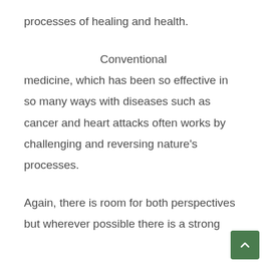processes of healing and health.
Conventional medicine, which has been so effective in so many ways with diseases such as cancer and heart attacks often works by challenging and reversing nature's processes.
Again, there is room for both perspectives but wherever possible there is a strong